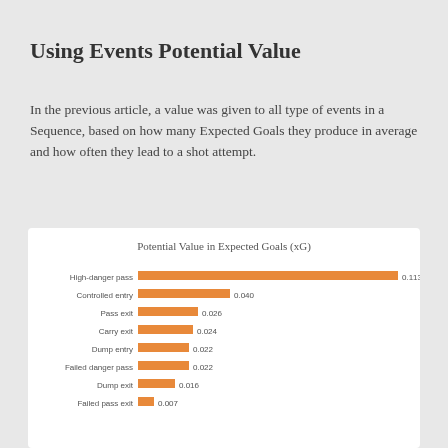Using Events Potential Value
In the previous article, a value was given to all type of events in a Sequence, based on how many Expected Goals they produce in average and how often they lead to a shot attempt.
[Figure (bar-chart): Potential Value in Expected Goals (xG)]